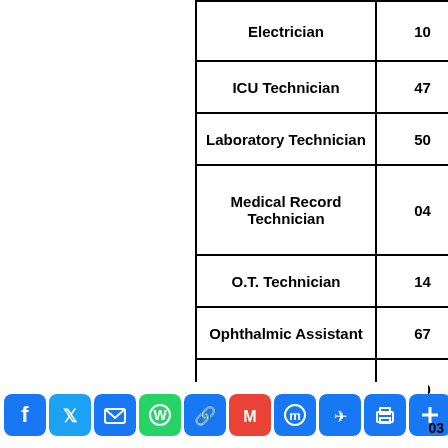|  |  |
| --- | --- |
| Electrician | 10 |
| ICU Technician | 47 |
| Laboratory Technician | 50 |
| Medical Record Technician | 04 |
| O.T. Technician | 14 |
| Ophthalmic Assistant | 67 |
| Pharmacist | 70 |
03